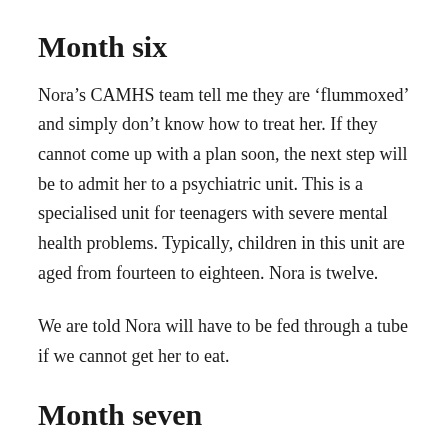Month six
Nora’s CAMHS team tell me they are ‘flummoxed’ and simply don’t know how to treat her. If they cannot come up with a plan soon, the next step will be to admit her to a psychiatric unit. This is a specialised unit for teenagers with severe mental health problems. Typically, children in this unit are aged from fourteen to eighteen. Nora is twelve.
We are told Nora will have to be fed through a tube if we cannot get her to eat.
Month seven
We have come a long I then pretty clearly that it for d lik